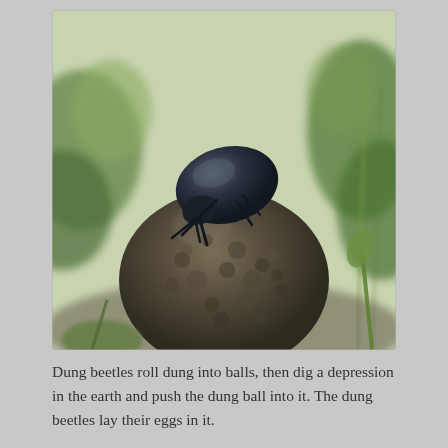[Figure (photo): A close-up photograph of a dung beetle perched on top of a large ball of dung, outdoors with green foliage blurred in the background. The beetle is dark/black-blue in color with visible legs and hard shell.]
Dung beetles roll dung into balls, then dig a depression in the earth and push the dung ball into it. The dung beetles lay their eggs in it.